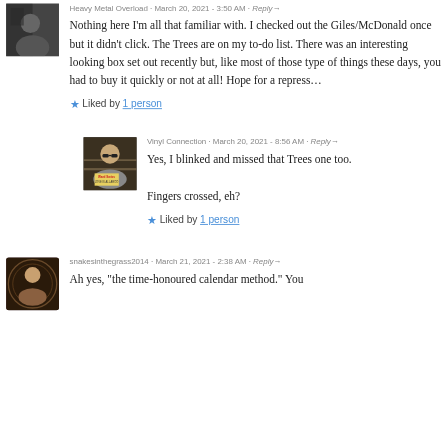Heavy Metal Overload · March 20, 2021 - 3:50 AM · Reply→
Nothing here I'm all that familiar with. I checked out the Giles/McDonald once but it didn't click. The Trees are on my to-do list. There was an interesting looking box set out recently but, like most of those type of things these days, you had to buy it quickly or not at all! Hope for a repress...
★ Liked by 1 person
Vinyl Connection · March 20, 2021 - 8:56 AM · Reply→
Yes, I blinked and missed that Trees one too. Fingers crossed, eh?
★ Liked by 1 person
snakesinthegrass2014 · March 21, 2021 - 2:38 AM · Reply→
Ah yes, "the time-honoured calendar method." You